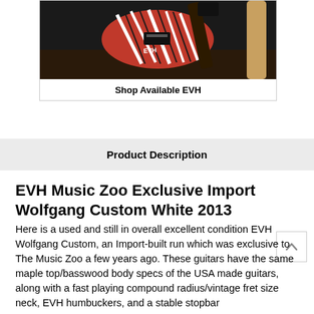[Figure (photo): Red, black and white striped electric guitar (EVH Wolfgang) displayed on a dark wooden surface]
Shop Available EVH
Product Description
EVH Music Zoo Exclusive Import Wolfgang Custom White 2013
Here is a used and still in overall excellent condition EVH Wolfgang Custom, an Import-built run which was exclusive to The Music Zoo a few years ago. These guitars have the same maple top/basswood body specs of the USA made guitars, along with a fast playing compound radius/vintage fret size neck, EVH humbuckers, and a stable stopbar